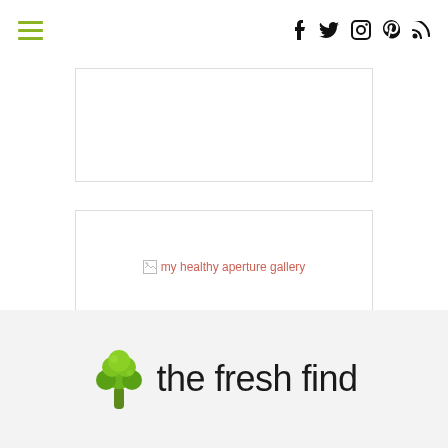≡  f  t  instagram  pinterest  rss
[Figure (other): Empty advertisement placeholder box]
[Figure (other): Broken image placeholder for 'my healthy aperture gallery' link]
[Figure (logo): The Fresh Find logo with broccoli icon and handwritten text 'the fresh find']